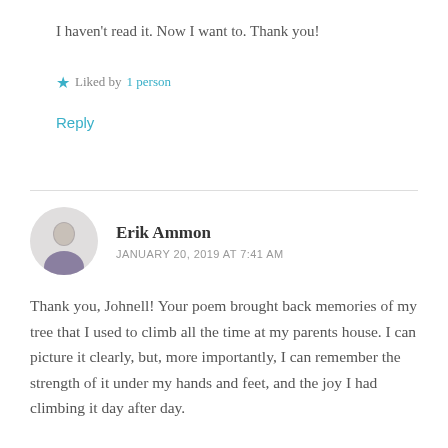I haven't read it. Now I want to. Thank you!
★ Liked by 1 person
Reply
Erik Ammon
JANUARY 20, 2019 AT 7:41 AM
Thank you, Johnell! Your poem brought back memories of my tree that I used to climb all the time at my parents house. I can picture it clearly, but, more importantly, I can remember the strength of it under my hands and feet, and the joy I had climbing it day after day.